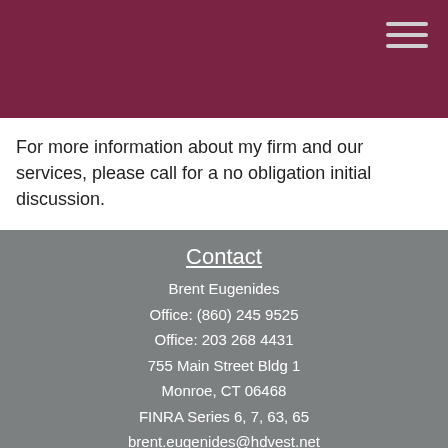For more information about my firm and our services, please call for a no obligation initial discussion.
Contact
Brent Eugenides
Office: (860) 245 9525
Office: 203 268 4431
755 Main Street Bldg 1
Monroe, CT 06468
FINRA Series 6, 7, 63, 65
brent.eugenides@hdvest.net
[Figure (other): Facebook and LinkedIn social media icon buttons]
Quick Links
Retirement
Investment